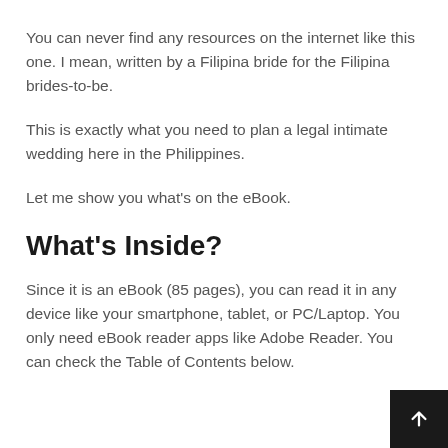You can never find any resources on the internet like this one. I mean, written by a Filipina bride for the Filipina brides-to-be.
This is exactly what you need to plan a legal intimate wedding here in the Philippines.
Let me show you what's on the eBook.
What's Inside?
Since it is an eBook (85 pages), you can read it in any device like your smartphone, tablet, or PC/Laptop. You only need eBook reader apps like Adobe Reader. You can check the Table of Contents below.